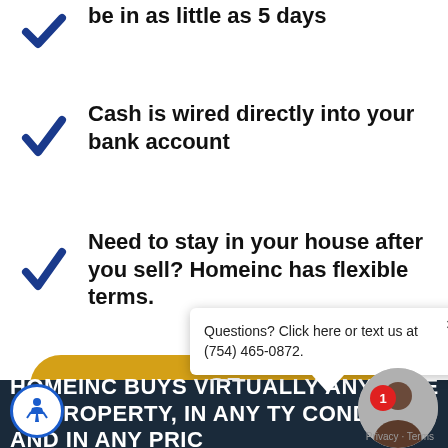be in as little as 5 days
Cash is wired directly into your bank account
Need to stay in your house after you sell? Homeinc has flexible terms.
GET
Questions? Click here or text us at (754) 465-0872.
HOMEINC BUYS VIRTUALLY ANY TYPE OF PROPERTY, IN ANY TYPE CONDITION AND IN ANY PRICE RANGE